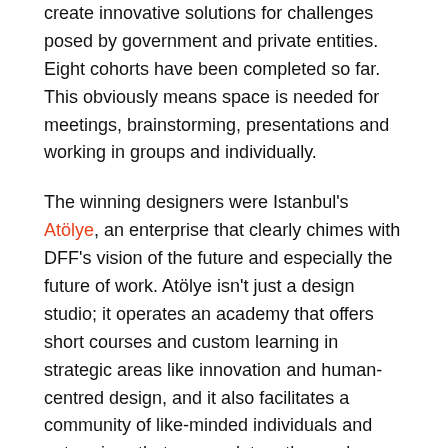create innovative solutions for challenges posed by government and private entities. Eight cohorts have been completed so far. This obviously means space is needed for meetings, brainstorming, presentations and working in groups and individually.
The winning designers were Istanbul's Atölye, an enterprise that clearly chimes with DFF's vision of the future and especially the future of work. Atölye isn't just a design studio; it operates an academy that offers short courses and custom learning in strategic areas like innovation and human-centred design, and it also facilitates a community of like-minded individuals and enterprises that can work together on key projects. So Atölye's studio must have seemed a natural fit.
Atölye put in 80 hours of field research to come up with what it called "a scenario-based layout system that